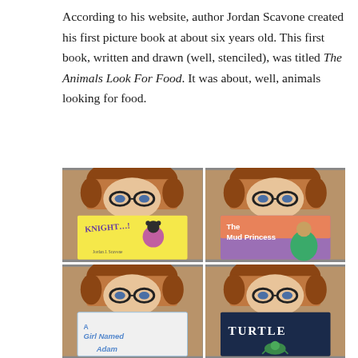According to his website, author Jordan Scavone created his first picture book at about six years old. This first book, written and drawn (well, stenciled), was titled The Animals Look For Food. It was about, well, animals looking for food.
[Figure (photo): Four-panel photo collage of author Jordan Scavone holding up four different picture books: top-left shows a yellow superhero book, top-right shows 'The Mud Princess', bottom-left shows 'A Girl Named Adam', bottom-right shows 'Turtle'. The author has curly reddish-brown hair and wears black glasses.]